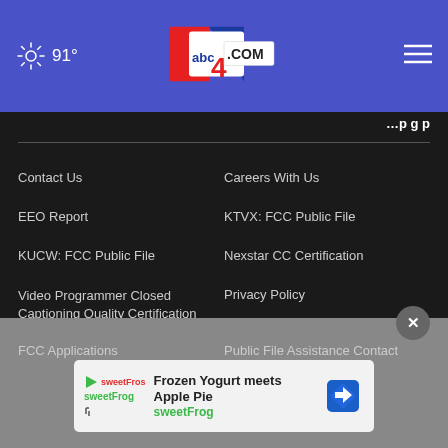abc4.com — 91°
Contact Us
Careers With Us
EEO Report
KTVX: FCC Public File
KUCW: FCC Public File
Nexstar CC Certification
Video Programmer Closed Captioning Quality Certification
Privacy Policy
Terms Of Use
Do Not Sell My Person…
[Figure (other): sweetFrog advertisement banner: Frozen Yogurt meets Apple Pie, sweetFrog logo]
FCC Applications
Public File Assistance Contact